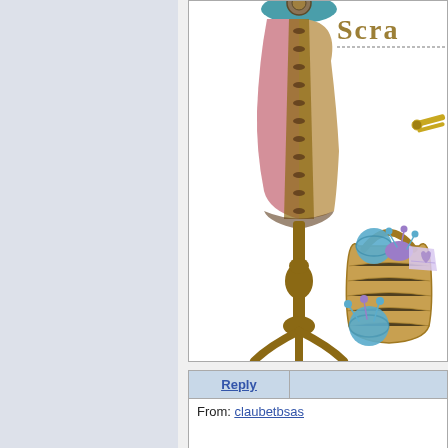[Figure (illustration): A decorative sewing/crafts themed image showing a vintage pink and brown corset on a dress form stand, a wicker basket with sewing supplies including thread, pins, and fabric, and partial text logo at top right. White background with border.]
[Figure (other): Reply button bar with blue-gray background]
From: claubetbsas